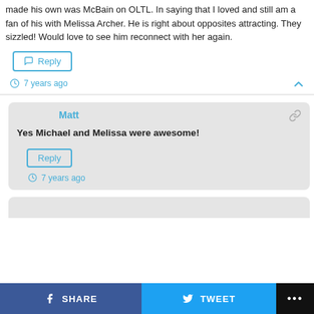made his own was McBain on OLTL. In saying that I loved and still am a fan of his with Melissa Archer. He is right about opposites attracting. They sizzled! Would love to see him reconnect with her again.
Reply
7 years ago
Matt
Yes Michael and Melissa were awesome!
Reply
7 years ago
SHARE   TWEET   ...